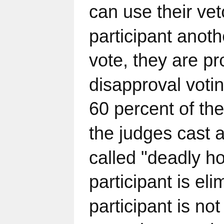can use their veto to give a disqualified participant another chance. To cast their vote, they are provided an electronic disapproval voting system. If more than 60 percent of the audience or either of the judges cast a negative vote, a so-called "deadly hooter" sounds and the participant is eliminated. However, if the participant is not voted out within the one-minute period, he or she qualifies for the cash prize of Rs. 11,121. At the end of every show, the judges pick two of the qualifiers to participate in the weekly final, and later, Friday and